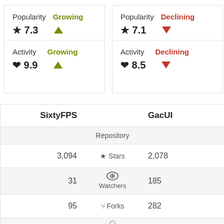Popularity Growing ★ 7.3 ▲
Activity Growing ♥ 9.9 ▲
Popularity Declining ★ 7.1 ▼
Activity Declining ♥ 8.5 ▼
| SixtyFPS |  | GacUI |
| --- | --- | --- |
|  | Repository |  |
| 3,094 | ★ Stars | 2,078 |
| 31 | 👁 Watchers | 185 |
| 95 | ⑂ Forks | 282 |